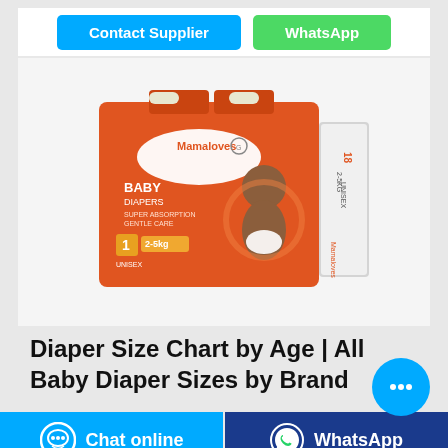[Figure (other): Two blue and green buttons: Contact Supplier and WhatsApp]
[Figure (photo): Mamaloves Baby Diapers product packaging box, orange color, showing a baby, size 1, 2-5kg, Unisex, with 18 count, super absorption and gentle care labeling]
Diaper Size Chart by Age | All Baby Diaper Sizes by Brand
[Figure (other): Blue circular chat bubble button with ellipsis icon]
[Figure (other): Bottom bar with Chat online button (blue) and WhatsApp button (dark blue)]